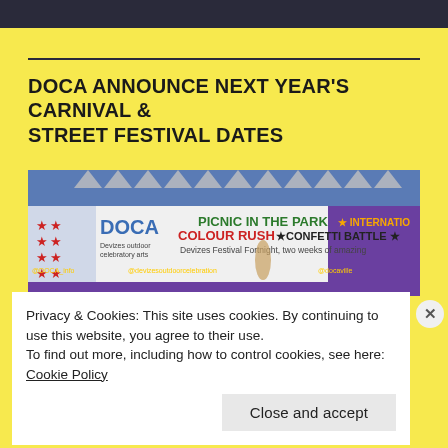[Figure (photo): Top portion of a webpage with dark banner image at the very top]
DOCA ANNOUNCE NEXT YEAR'S CARNIVAL & STREET FESTIVAL DATES
[Figure (photo): Photo of a DOCA festival banner showing text: PICNIC IN THE PARK, COLOUR RUSH, CONFETTI BATTLE, INTERNATIONAL, Devizes Festival Fortnight, two weeks of amazing, @DOCA_info, @devizesoutdoorcelebration, @docaville. Background has red star decorations and bunting triangles.]
Privacy & Cookies: This site uses cookies. By continuing to use this website, you agree to their use.
To find out more, including how to control cookies, see here: Cookie Policy
Close and accept